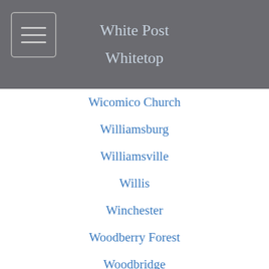White Post
Whitetop
Wicomico Church
Williamsburg
Williamsville
Willis
Winchester
Woodberry Forest
Woodbridge
Woodville
Wylliesburg